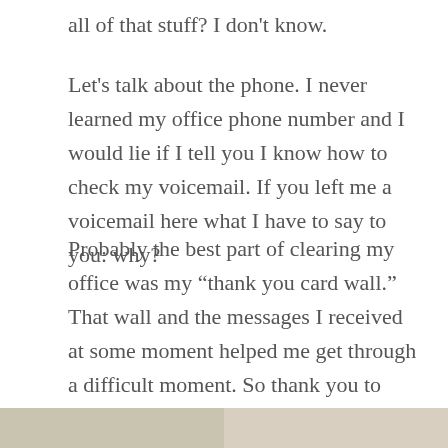all of that stuff? I don't know.
Let's talk about the phone. I never learned my office phone number and I would lie if I tell you I know how to check my voicemail. If you left me a voicemail here what I have to say to you: why?
Probably the best part of clearing my office was my “thank you card wall.” That wall and the messages I received at some moment helped me get through a difficult moment. So thank you to everyone that at some moment in the last few year has giving me a thank you card because hey you probably made a deeper impact in my life in another way.
[Figure (photo): Partial image strip at the bottom of the page, showing two side-by-side image panels in muted tan/beige tones.]